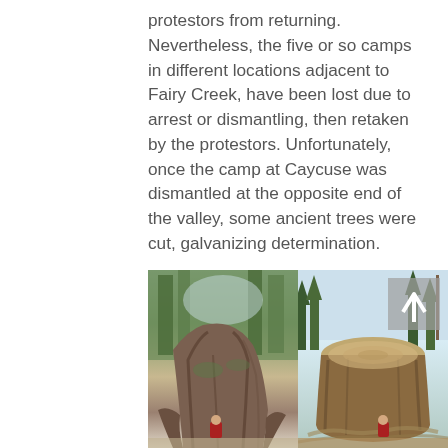protestors from returning. Nevertheless, the five or so camps in different locations adjacent to Fairy Creek, have been lost due to arrest or dismantling, then retaken by the protestors. Unfortunately, once the camp at Caycuse was dismantled at the opposite end of the valley, some ancient trees were cut, galvanizing determination.
[Figure (photo): Two side-by-side photos: left shows a large living ancient tree (likely a cedar) with a person in red sitting at its base in a forest; right shows the massive stump of a cut ancient tree with a person in red sitting at its base, with clear-cut landscape and remaining trees in background. An arrow/navigation overlay appears in the upper right of the right photo.]